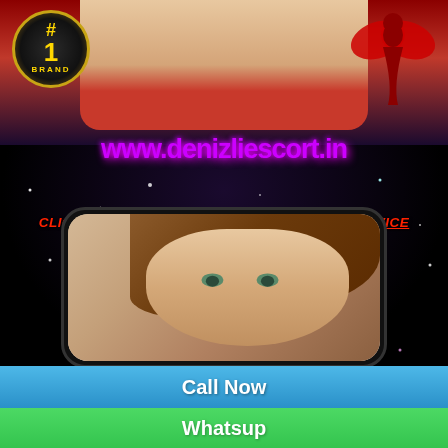[Figure (illustration): Advertisement banner with dark starry background, #1 Brand badge, bikini illustration, angel silhouette, purple website URL www.denizliescort.in, red italic text promotions, phone mockup with woman's face, Call Now blue bar, Whatsup green bar]
www.denizliescort.in
CLICK HERE TO SEE NEW BHIND ESCORTS SERVICE
MODELS AVAILABLE TODAY
Call Now
Whatsup